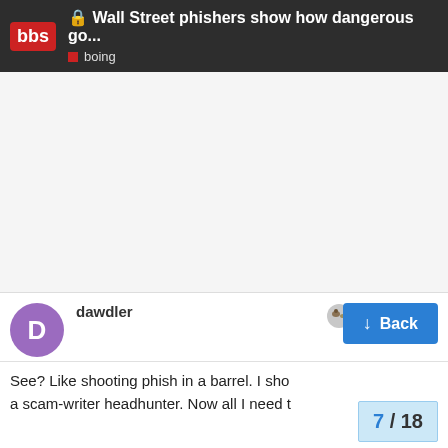Wall Street phishers show how dangerous go... boing
See? Like shooting phish in a barrel. I sho... a scam-writer headhunter. Now all I need t...
dawdler Dec '14
7 / 18